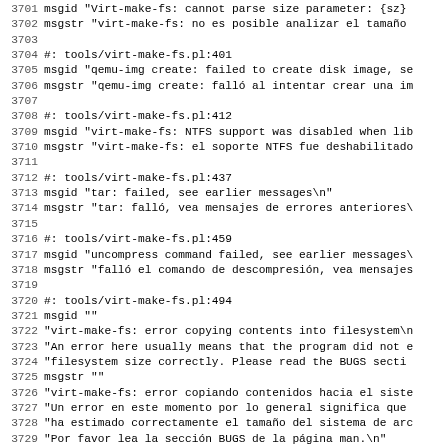Code listing lines 3701-3733, gettext PO file content for virt-make-fs and virt-rescue Spanish translation
3701 msgid "Virt-make-fs: cannot parse size parameter: {sz}
3702 msgstr "virt-make-fs: no es posible analizar el tamaño
3703
3704 #: tools/virt-make-fs.pl:401
3705 msgid "qemu-img create: failed to create disk image, se
3706 msgstr "qemu-img create: falló al intentar crear una im
3707
3708 #: tools/virt-make-fs.pl:412
3709 msgid "virt-make-fs: NTFS support was disabled when lib
3710 msgstr "virt-make-fs: el soporte NTFS fue deshabilitado
3711
3712 #: tools/virt-make-fs.pl:437
3713 msgid "tar: failed, see earlier messages\n"
3714 msgstr "tar: falló, vea mensajes de errores anteriores\
3715
3716 #: tools/virt-make-fs.pl:459
3717 msgid "uncompress command failed, see earlier messages\
3718 msgstr "falló el comando de descompresión, vea mensajes
3719
3720 #: tools/virt-make-fs.pl:494
3721 msgid ""
3722 "virt-make-fs: error copying contents into filesystem\n
3723 "An error here usually means that the program did not e
3724 "filesystem size correctly.  Please read the BUGS secti
3725 msgstr ""
3726 "virt-make-fs: error copiando contenidos hacia el siste
3727 "Un error en este momento por lo general significa que
3728 "ha estimado correctamente el tamaño del sistema de arc
3729 "Por favor lea la sección BUGS de la página man.\n"
3730
3731 #: tools/virt-rescue.pl:194
3732 msgid "virt-rescue: no image or VM names rescue given"
3733 msgstr "virt-rescue: no se le facilitó ningún imagen o n